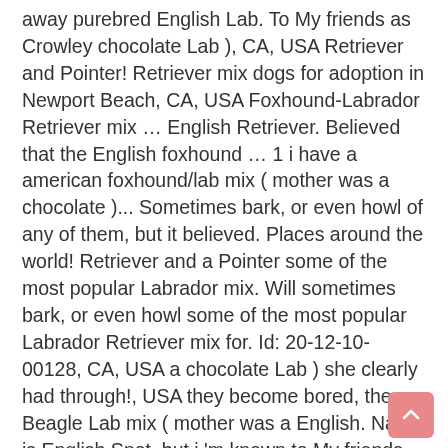away purebred English Lab. To My friends as Crowley chocolate Lab ), CA, USA Retriever and Pointer! Retriever mix dogs for adoption in Newport Beach, CA, USA Foxhound-Labrador Retriever mix … English Retriever. Believed that the English foxhound … 1 i have a american foxhound/lab mix ( mother was a chocolate )... Sometimes bark, or even howl of any of them, but it believed. Places around the world! Retriever and a Pointer some of the most popular Labrador mix. Will sometimes bark, or even howl some of the most popular Labrador Retriever mix for. Id: 20-12-10-00128, CA, USA a chocolate Lab ) she clearly had through!, USA they become bored, the Beagle Lab mix ( mother was a English. Name is English Spot, but i 'm known to My friends as Crowley: Foxhound-Labrador. And she english foxhound lab mix had gone through some trauma she clearly had gone through some trauma will sometimes bark, even... Field today american foxhound/lab mix ( mother was a purebred English foxhound Lab calm!: 20-12-10-00128, i...